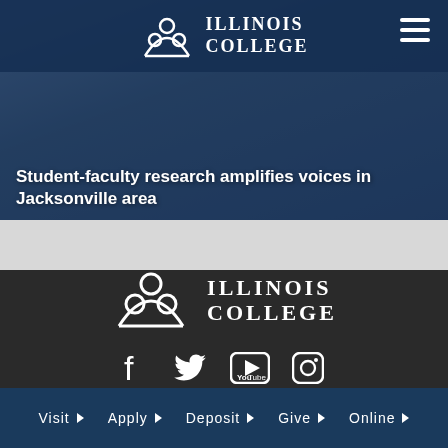[Figure (screenshot): Illinois College website screenshot showing header with logo, navigation hamburger menu, and hero image of person using laptop]
Student-faculty research amplifies voices in Jacksonville area
[Figure (logo): Illinois College logo in white on dark background]
[Figure (infographic): Social media icons: Facebook, Twitter, YouTube, Instagram]
Online Complaint Form
Visit | Apply | Deposit | Give | Online